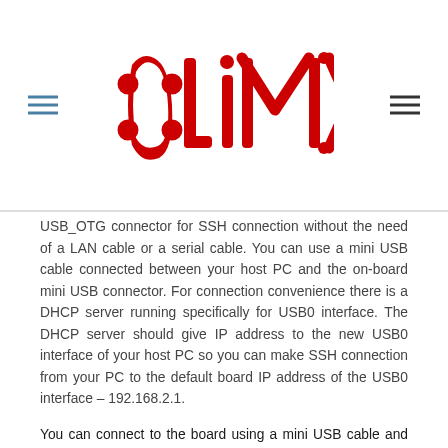Olimex logo with navigation menu icons
USB_OTG connector for SSH connection without the need of a LAN cable or a serial cable. You can use a mini USB cable connected between your host PC and the on-board mini USB connector. For connection convenience there is a DHCP server running specifically for USB0 interface. The DHCP server should give IP address to the new USB0 interface of your host PC so you can make SSH connection from your PC to the default board IP address of the USB0 interface – 192.168.2.1.
You can connect to the board using a mini USB cable and an SSH client (if you use Windows you might use "puTTY", for example) at address 192.168.2.1.
For Windows operating system - upon connection, the board should show up in "Windows Device Manager" as "RNDIS Ethernet Gadget". You might be asked to install a driver. The drivers can be found online as "RNDIS driver" (Remote